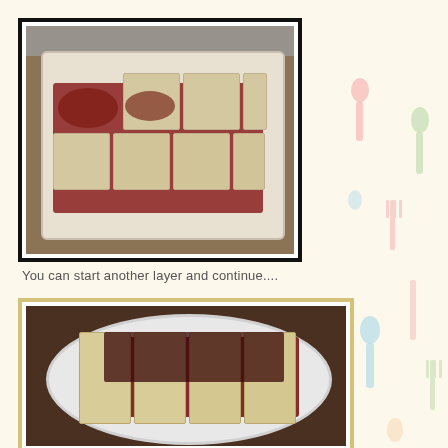[Figure (photo): Plastic container with sliced tofu pieces covered in red sauce with herbs/spices on a granite countertop]
You can start another layer and continue....
[Figure (photo): White plate with sliced tofu pieces topped with dark red sauce and capers/herbs on a dark wooden surface]